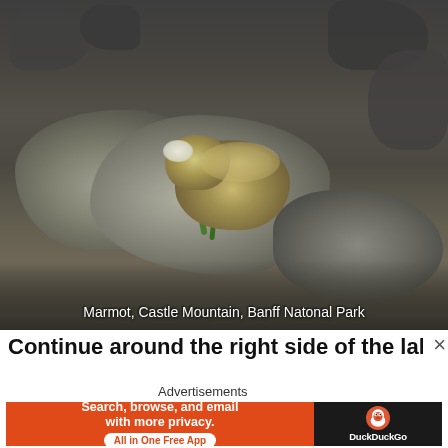[Figure (photo): A marmot sitting on rocky boulders in a talus field at Castle Mountain, Banff National Park. The animal has brown and gray fur with a white patch on its face. The background shows dark rocky scree.]
Marmot, Castle Mountain, Banff Natonal Park
Continue around the right side of the lake before climbing
Advertisements
[Figure (screenshot): DuckDuckGo advertisement banner. Left side orange background with white text: 'Search, browse, and email with more privacy. All in One Free App'. Right side black background with DuckDuckGo duck logo and name.]